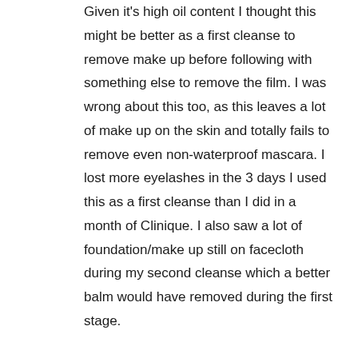Given it's high oil content I thought this might be better as a first cleanse to remove make up before following with something else to remove the film. I was wrong about this too, as this leaves a lot of make up on the skin and totally fails to remove even non-waterproof mascara. I lost more eyelashes in the 3 days I used this as a first cleanse than I did in a month of Clinique. I also saw a lot of foundation/make up still on facecloth during my second cleanse which a better balm would have removed during the first stage.
The only thing I can think of this product